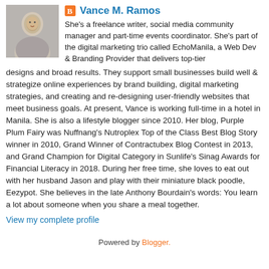[Figure (photo): Profile photo of Vance M. Ramos, a woman smiling, photo in grayscale/muted tones]
Vance M. Ramos
She's a freelance writer, social media community manager and part-time events coordinator. She's part of the digital marketing trio called EchoManila, a Web Dev & Branding Provider that delivers top-tier designs and broad results. They support small businesses build well & strategize online experiences by brand building, digital marketing strategies, and creating and re-designing user-friendly websites that meet business goals. At present, Vance is working full-time in a hotel in Manila. She is also a lifestyle blogger since 2010. Her blog, Purple Plum Fairy was Nuffnang's Nutroplex Top of the Class Best Blog Story winner in 2010, Grand Winner of Contractubex Blog Contest in 2013, and Grand Champion for Digital Category in Sunlife's Sinag Awards for Financial Literacy in 2018. During her free time, she loves to eat out with her husband Jason and play with their miniature black poodle, Eezypot. She believes in the late Anthony Bourdain's words: You learn a lot about someone when you share a meal together.
View my complete profile
Powered by Blogger.